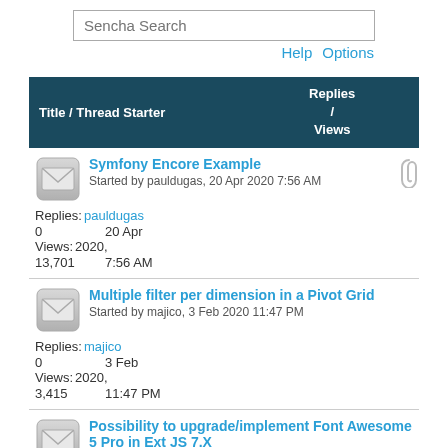Sencha Search
Help   Options
| Title / Thread Starter | Replies / Views | Last Post By |
| --- | --- | --- |
| Symfony Encore Example
Started by pauldugas, 20 Apr 2020 7:56 AM | Replies: 0
Views: 13,701 | pauldugas
20 Apr 2020,
7:56 AM |
| Multiple filter per dimension in a Pivot Grid
Started by majico, 3 Feb 2020 11:47 PM | Replies: 0
Views: 3,415 | majico
3 Feb 2020,
11:47 PM |
| Possibility to upgrade/implement Font Awesome 5 Pro in Ext JS 7.X |  |  |